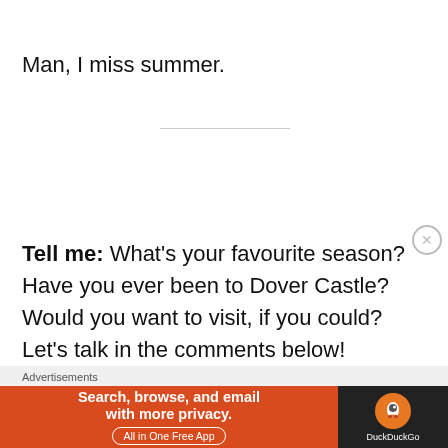Man, I miss summer.
Tell me: What's your favourite season? Have you ever been to Dover Castle? Would you want to visit, if you could? Let's talk in the comments below!
[Figure (infographic): DuckDuckGo advertisement banner: orange background on left with text 'Search, browse, and email with more privacy. All in One Free App', DuckDuckGo logo on dark right panel]
Advertisements